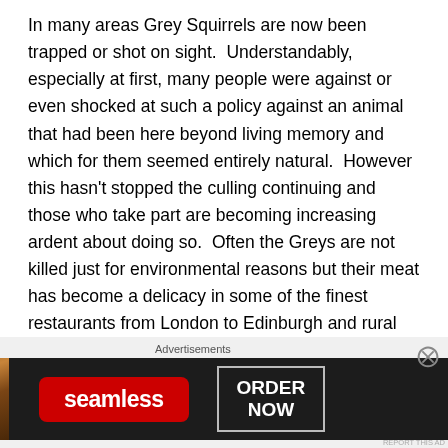In many areas Grey Squirrels are now been trapped or shot on sight.  Understandably, especially at first, many people were against or even shocked at such a policy against an animal that had been here beyond living memory and which for them seemed entirely natural.  However this hasn't stopped the culling continuing and those who take part are becoming increasing ardent about doing so.  Often the Greys are not killed just for environmental reasons but their meat has become a delicacy in some of the finest restaurants from London to Edinburgh and rural butchers and pubs are almost as likely to be selling squirrel alongside other game such as Venison, Rabbit or Partridge.
Advertisements
[Figure (photo): Seamless food delivery advertisement banner showing pizza image on left, Seamless red logo badge in center, and ORDER NOW button in white outlined box on dark background]